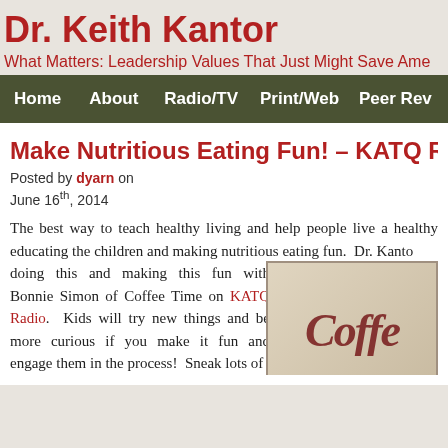Dr. Keith Kantor
What Matters: Leadership Values That Just Might Save Ame
Home | About | Radio/TV | Print/Web | Peer Rev
Make Nutritious Eating Fun! – KATQ R
Posted by dyarn on
June 16th, 2014
The best way to teach healthy living and help people live a healthy educating the children and making nutritious eating fun.  Dr. Kanto doing this and making this fun with Bonnie Simon of Coffee Time on KATQ Radio.  Kids will try new things and be more curious if you make it fun and engage them in the process!  Sneak lots of
[Figure (photo): Coffee Time radio show logo/image with stylized script text reading 'Coffe' (partially visible)]